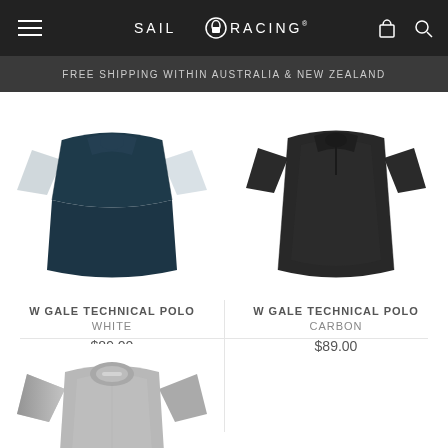SAIL RACING
FREE SHIPPING WITHIN AUSTRALIA & NEW ZEALAND
[Figure (photo): W Gale Technical Polo in White/teal color, product photo]
W GALE TECHNICAL POLO
WHITE
$89.00
[Figure (photo): W Gale Technical Polo in Carbon/black color, product photo]
W GALE TECHNICAL POLO
CARBON
$89.00
[Figure (photo): Gray t-shirt product photo, partially visible]